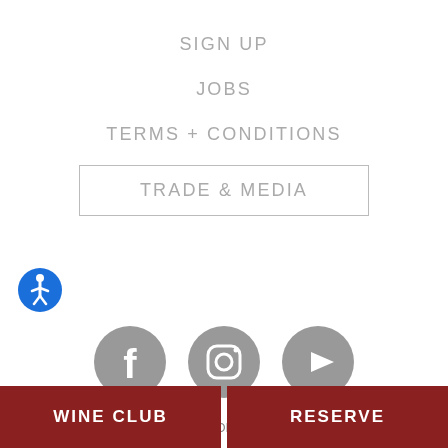SIGN UP
JOBS
TERMS + CONDITIONS
TRADE & MEDIA
[Figure (infographic): Accessibility button: blue circle with white wheelchair/person icon]
[Figure (infographic): Three social media icons (Facebook, Instagram, YouTube) as gray circles with white icons]
Copyright 2022 Obsidian Wine Co.
WINE CLUB
RESERVE